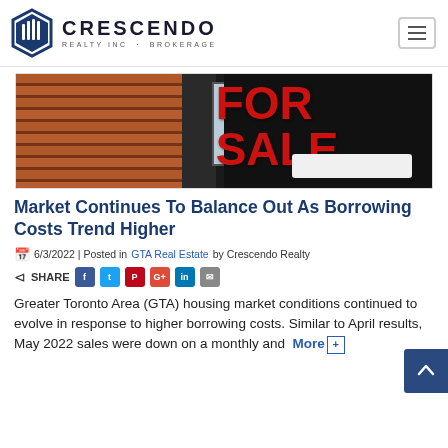CRESCENDO REALTY INC · BROKERAGE
[Figure (photo): A FOR SALE real estate sign in bold red letters on a dark background, with brick wall and window visible on the left side]
Market Continues To Balance Out As Borrowing Costs Trend Higher
6/3/2022 | Posted in GTA Real Estate by Crescendo Realty
SHARE [social icons: Facebook, Twitter, Pinterest, Google+, LinkedIn, Email]
Greater Toronto Area (GTA) housing market conditions continued to evolve in response to higher borrowing costs. Similar to April results, May 2022 sales were down on a monthly and ... More